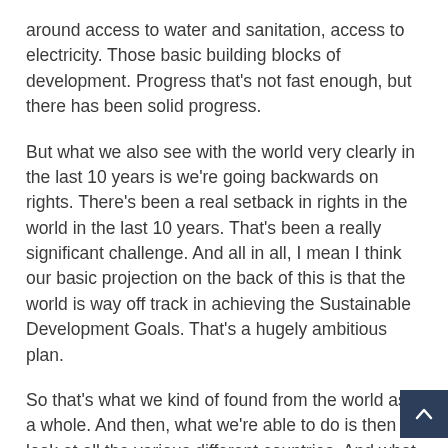around access to water and sanitation, access to electricity. Those basic building blocks of development. Progress that's not fast enough, but there has been solid progress.
But what we also see with the world very clearly in the last 10 years is we're going backwards on rights. There's been a real setback in rights in the world in the last 10 years. That's been a really significant challenge. And all in all, I mean I think our basic projection on the back of this is that the world is way off track in achieving the Sustainable Development Goals. That's a hugely ambitious plan.
So that's what we kind of found from the world as a whole. And then, what we're able to do is then look at all the various different countries. And what we find is that, of course, no surprise,